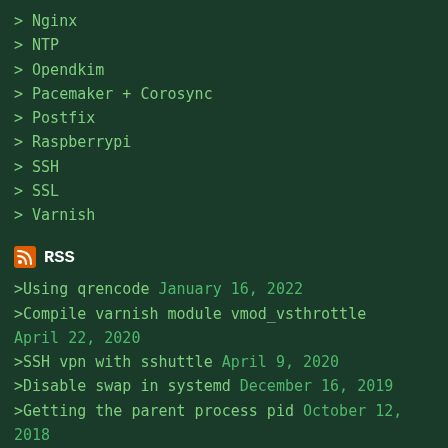> Nginx
> NTP
> Opendkim
> Pacemaker + Corosync
> Postfix
> Raspberrypi
> SSH
> SSL
> Varnish
RSS
> Using qrencode January 16, 2022
> Compile varnish module vmod_vsthrottle April 22, 2020
> SSH vpn with sshuttle April 9, 2020
> Disable swap in systemd December 16, 2019
> Getting the parent process pid October 12, 2018